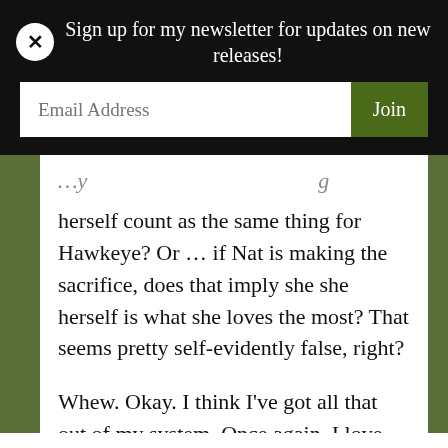Sign up for my newsletter for updates on new releases!
herself count as the same thing for Hawkeye? Or … if Nat is making the sacrifice, does that imply she she herself is what she loves the most? That seems pretty self-evidently false, right?
Whew. Okay. I think I've got all that out of my system. Once again, I love this movie, so don't let my nitpicks count against it. Stories are a hell of a lot more than the